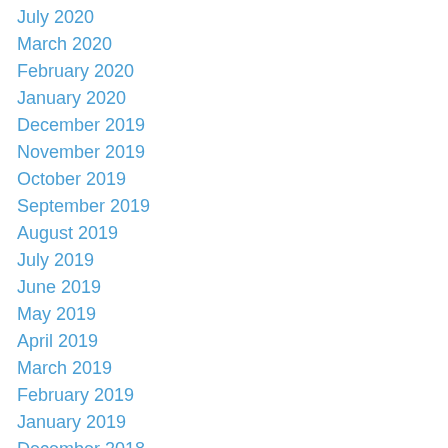July 2020
March 2020
February 2020
January 2020
December 2019
November 2019
October 2019
September 2019
August 2019
July 2019
June 2019
May 2019
April 2019
March 2019
February 2019
January 2019
December 2018
November 2018
October 2018
September 2018